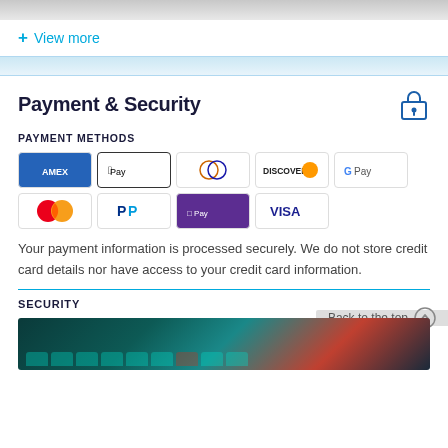[Figure (screenshot): Gray gradient top bar element from a web page]
+ View more
Payment & Security
PAYMENT METHODS
[Figure (infographic): Payment method logos: American Express, Apple Pay, Diners Club, Discover, Google Pay, Mastercard, PayPal, Shop Pay, Visa]
Your payment information is processed securely. We do not store credit card details nor have access to your credit card information.
Back to the top
SECURITY
[Figure (photo): Dark teal and red keyboard security image]